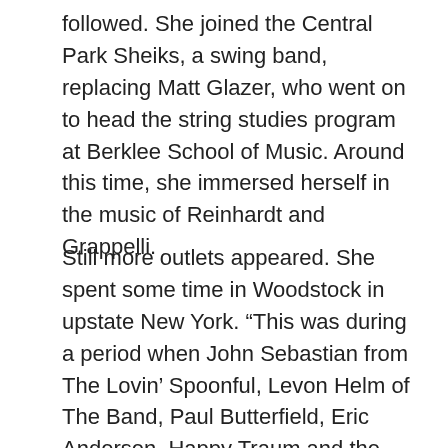followed. She joined the Central Park Sheiks, a swing band, replacing Matt Glazer, who went on to head the string studies program at Berklee School of Music. Around this time, she immersed herself in the music of Reinhardt and Grappelli.
Still more outlets appeared. She spent some time in Woodstock in upstate New York. “This was during a period when John Sebastian from The Lovin’ Spoonful, Levon Helm of The Band, Paul Butterfield, Eric Andersen, Happy Traum and the like were there,” she says. “I played and recorded with them in various configurations.” She also toured Norway with a bluegrass band and Germany with an alternative-rock band. She